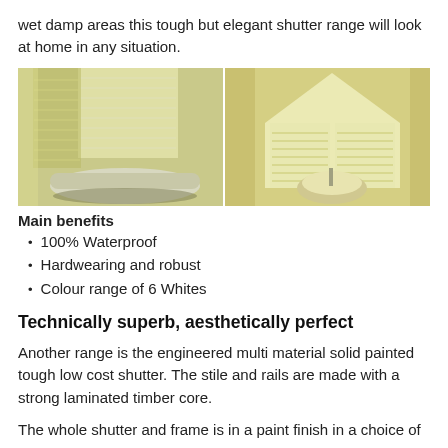wet damp areas this tough but elegant shutter range will look at home in any situation.
[Figure (photo): Two side-by-side bathroom photos showing white plantation shutters on windows next to freestanding bathtubs in bright, warm-toned rooms.]
Main benefits
100% Waterproof
Hardwearing and robust
Colour range of 6 Whites
Technically superb, aesthetically perfect
Another range is the engineered multi material solid painted tough low cost shutter. The stile and rails are made with a strong laminated timber core.
The whole shutter and frame is in a paint finish in a choice of